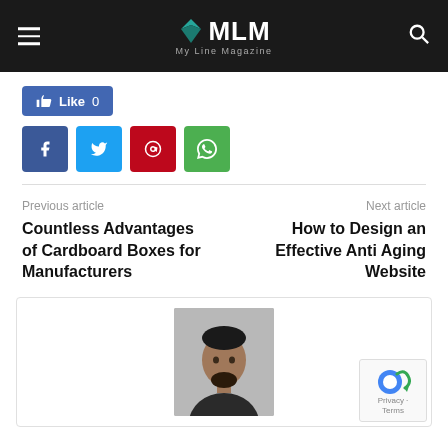MLM My Line Magazine
[Figure (screenshot): Social share buttons: Like 0 (Facebook like), and four social icons: Facebook (f), Twitter, Pinterest, WhatsApp]
Previous article
Countless Advantages of Cardboard Boxes for Manufacturers
Next article
How to Design an Effective Anti Aging Website
[Figure (photo): Author photo: young bearded man in dark shirt against grey background, partially visible at bottom of page. reCAPTCHA badge visible bottom right.]